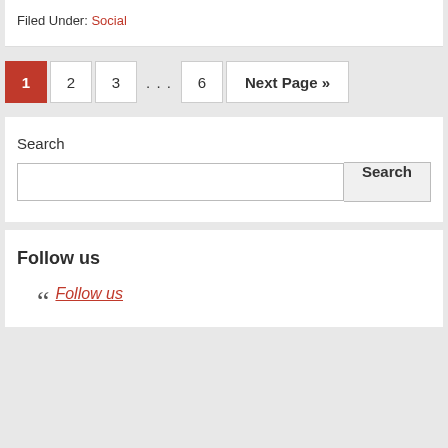Filed Under: Social
1 2 3 ... 6 Next Page »
Search
Follow us
" Follow us